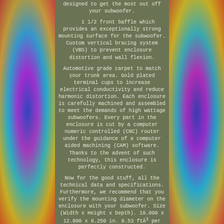designed to get the most out off your subwoofer.
1 1/2 front baffle which provides an exceptionally strong mounting surface for the subwoofer. Custom vertical bracing system (VBS) to prevent enclosure distortion and wall flexion.
Automotive grade carpet to match your trunk area. Gold plated terminal cups to increase electrical conductivity and reduce harmonic distortion. Each enclosure is carefully machined and assembled to meet the demands of high wattage subwoofers. Every part in the enclosure is cut by a computer numeric controlled (CNC) router under the guidance of a computer aided machining (CAM) software. Thanks to the advent of such technology, this enclosure is perfectly constructed.
Now for the good stuff, all the technical data and specifications. Furthermore, we recommend that you verify the mounting diameter on the enclosure with your subwoofer. Size (Width x Height x Depth). 18.000 x 12.000 x 8.250 in. 0.53 ftÃ³ per chamber.
The enclosure comes standard in Charcoal. We can make the enclosure in any of the following colors upon request and availability. All you need to do is let us know in the notes section of the order which color you would like.
We know that sometimes the enclosure doesn't fit